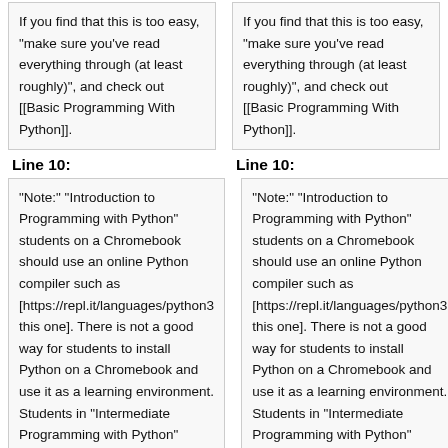If you find that this is too easy, "make sure you've read everything through (at least roughly)", and check out [[Basic Programming With Python]].
If you find that this is too easy, "make sure you've read everything through (at least roughly)", and check out [[Basic Programming With Python]].
Line 10:
Line 10:
"Note:" "Introduction to Programming with Python" students on a Chromebook should use an online Python compiler such as [https://repl.it/languages/python3 this one]. There is not a good way for students to install Python on a Chromebook and use it as a learning environment. Students in "Intermediate Programming with Python" should not use a Chromebook because they will need the
"Note:" "Introduction to Programming with Python" students on a Chromebook should use an online Python compiler such as [https://repl.it/languages/python3 this one]. There is not a good way for students to install Python on a Chromebook and use it as a learning environment. Students in "Intermediate Programming with Python" should not use a Chromebook because they will need the